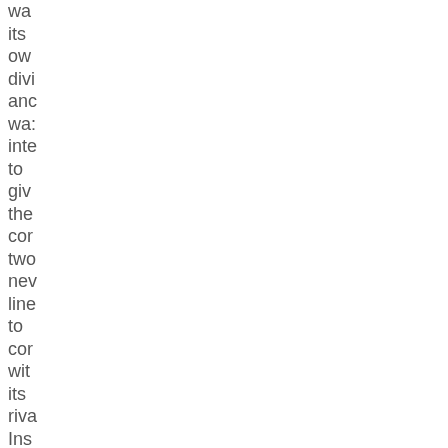wa its ow divi anc wa inte to giv the cor two nev line to cor wit its riva Ins it we dov in